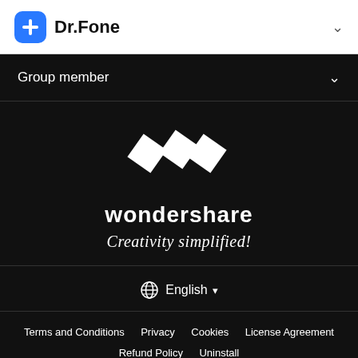Dr.Fone
Group member
[Figure (logo): Wondershare logo with two overlapping diamond/chevron shapes in white, text 'wondershare' and tagline 'Creativity simplified!']
English
Terms and Conditions  Privacy  Cookies  License Agreement  Refund Policy  Uninstall
Copyright © 2022 Wondershare. All rights reserved. The order process, tax and invoicing to end user is conducted by Wondershare Technology C...